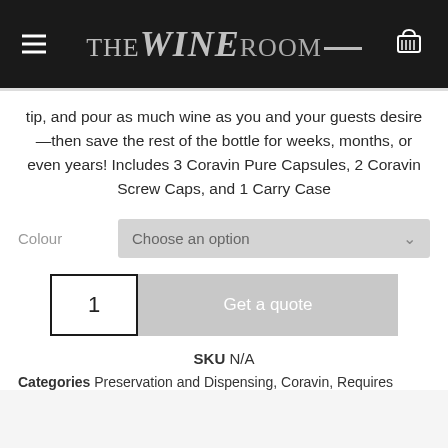THE WINE ROOM
tip, and pour as much wine as you and your guests desire—then save the rest of the bottle for weeks, months, or even years! Includes 3 Coravin Pure Capsules, 2 Coravin Screw Caps, and 1 Carry Case
Colour  Choose an option
1  Get a quote
SKU N/A
Categories Preservation and Dispensing, Coravin, Requires